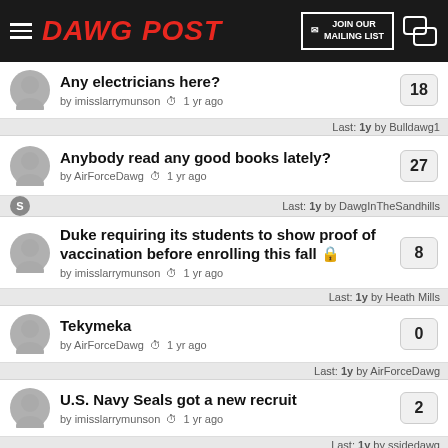DAWG POST — JOIN OUR MAILING LIST
Any electricians here? by imisslarrymunson 1 yr ago — 18 replies
Last: 1y by Bulldawg1
Anybody read any good books lately? by AirForceDawg 1 yr ago — 27 replies
Last: 1y by DawgInTheSandhills
Duke requiring its students to show proof of vaccination before enrolling this fall by imisslarrymunson 1 yr ago — 8 replies
Last: 1y by Heath Mills
Tekymeka by AirForceDawg 1 yr ago — 0 replies
Last: 1y by AirForceDawg
U.S. Navy Seals got a new recruit by imisslarrymunson 1 yr ago — 2 replies
Last: 1y by ssidedawg
When did Mama's Boy close? by jt10mc 1 yr ago — 17 replies
Last: 1y by ssidedawg